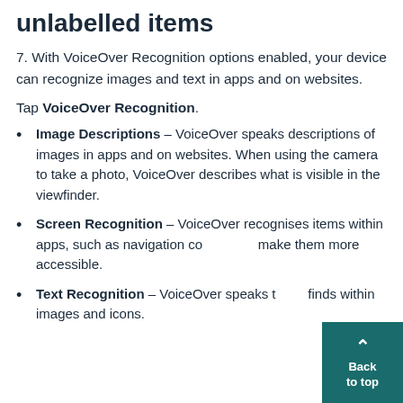unlabelled items
7. With VoiceOver Recognition options enabled, your device can recognize images and text in apps and on websites.
Tap VoiceOver Recognition.
Image Descriptions – VoiceOver speaks descriptions of images in apps and on websites. When using the camera to take a photo, VoiceOver describes what is visible in the viewfinder.
Screen Recognition – VoiceOver recognises items within apps, such as navigation controls, make them more accessible.
Text Recognition – VoiceOver speaks text it finds within images and icons.